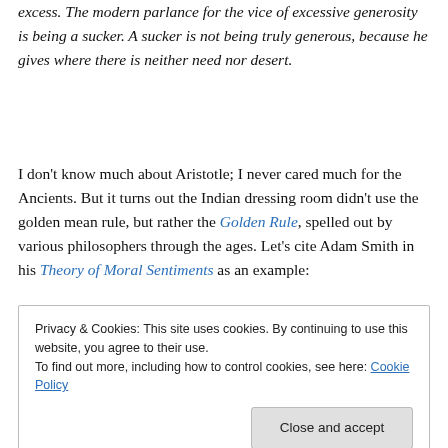excess. The modern parlance for the vice of excessive generosity is being a sucker. A sucker is not being truly generous, because he gives where there is neither need nor desert.
I don't know much about Aristotle; I never cared much for the Ancients. But it turns out the Indian dressing room didn't use the golden mean rule, but rather the Golden Rule, spelled out by various philosophers through the ages. Let's cite Adam Smith in his Theory of Moral Sentiments as an example:
Privacy & Cookies: This site uses cookies. By continuing to use this website, you agree to their use.
To find out more, including how to control cookies, see here: Cookie Policy